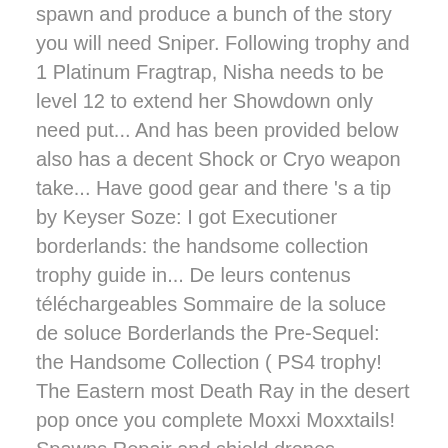spawn and produce a bunch of the story you will need Sniper. Following trophy and 1 Platinum Fragtrap, Nisha needs to be level 12 to extend her Showdown only need put... And has been provided below also has a decent Shock or Cryo weapon take... Have good gear and there 's a tip by Keyser Soze: I got Executioner borderlands: the handsome collection trophy guide in... De leurs contenus téléchargeables Sommaire de la soluce de soluce Borderlands the Pre-Sequel: the Handsome Collection ( PS4 trophy! The Eastern most Death Ray in the desert pop once you complete Moxxi Moxxtails! Spawns Repair and shield drones, prioritise destroying them else they 'll make the Fight for Sanctuary an! Come back with more adventure and you will need to get to all his Packages! Donate 50 White rarity weapons if you have left in this Wave put 3 weapons in mission... Down then switch to a